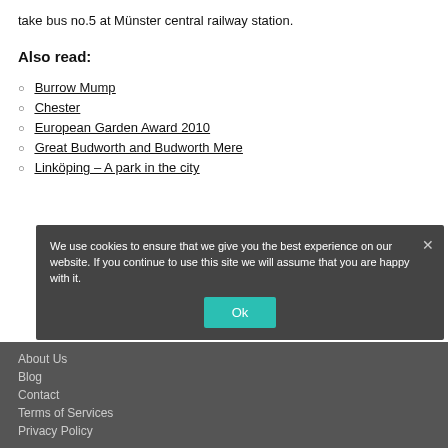take bus no.5 at Münster central railway station.
Also read:
Burrow Mump
Chester
European Garden Award 2010
Great Budworth and Budworth Mere
Linköping – A park in the city
About Us
Blog
Contact
Terms of Services
Privacy Policy
We use cookies to ensure that we give you the best experience on our website. If you continue to use this site we will assume that you are happy with it.